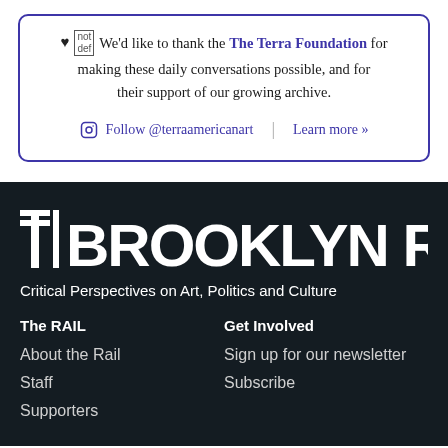♥ 𝕟𝕠𝕥𝕕𝕖𝕗 We'd like to thank the The Terra Foundation for making these daily conversations possible, and for their support of our growing archive.
Follow @terraamericanart  |  Learn more »
[Figure (logo): THE BROOKLYN RAIL logo in white on dark background]
Critical Perspectives on Art, Politics and Culture
The RAIL
Get Involved
About the Rail
Sign up for our newsletter
Staff
Subscribe
Supporters